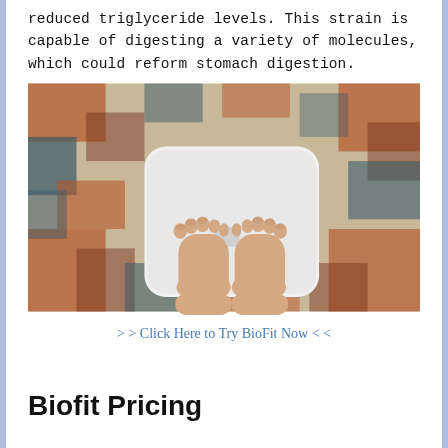reduced triglyceride levels. This strain is capable of digesting a variety of molecules, which could reform stomach digestion.
[Figure (photo): Overhead view of a person's feet standing on a white digital weighing scale placed on a decorative red and blue patterned rug]
> > Click Here to Try BioFit Now < <
Biofit Pricing